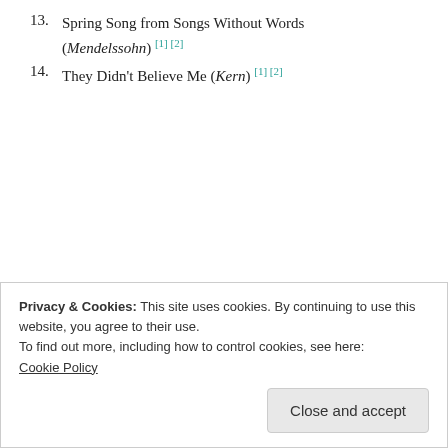13. Spring Song from Songs Without Words (Mendelssohn) [1][2]
14. They Didn't Believe Me (Kern) [1][2]
Share this:
[Figure (other): Twitter and Facebook share buttons]
Privacy & Cookies: This site uses cookies. By continuing to use this website, you agree to their use.
To find out more, including how to control cookies, see here: Cookie Policy